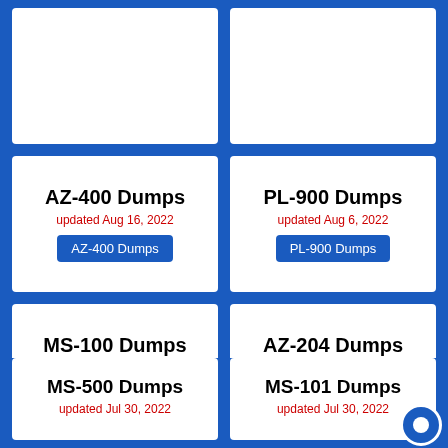AZ-400 Dumps
updated Aug 16, 2022
AZ-400 Dumps
PL-900 Dumps
updated Aug 6, 2022
PL-900 Dumps
MS-100 Dumps
updated Aug 5, 2022
MS-100 Dumps
AZ-204 Dumps
updated Aug 1, 2022
AZ-204 Dumps
MS-500 Dumps
updated Jul 30, 2022
MS-101 Dumps
updated Jul 30, 2022